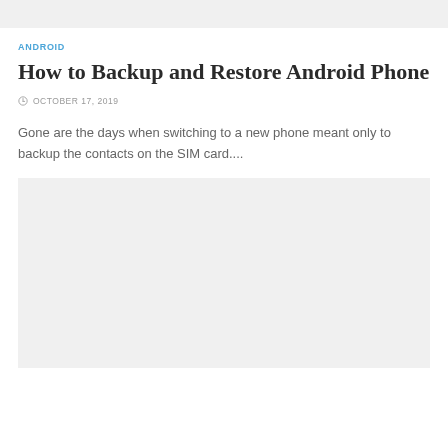ANDROID
How to Backup and Restore Android Phone
OCTOBER 17, 2019
Gone are the days when switching to a new phone meant only to backup the contacts on the SIM card....
[Figure (other): Light grey placeholder image block]